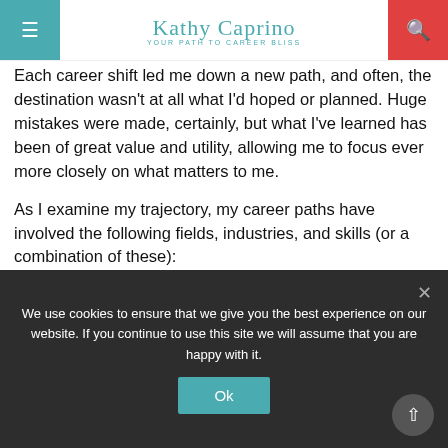Kathy Caprino — YOUR PATH TO CAREER BLISS
Each career shift led me down a new path, and often, the destination wasn't at all what I'd hoped or planned. Huge mistakes were made, certainly, but what I've learned has been of great value and utility, allowing me to focus ever more closely on what matters to me.
As I examine my trajectory, my career paths have involved the following fields, industries, and skills (or a combination of these):
Copywriting and marketing – in scientific publishing
We use cookies to ensure that we give you the best experience on our website. If you continue to use this site we will assume that you are happy with it.